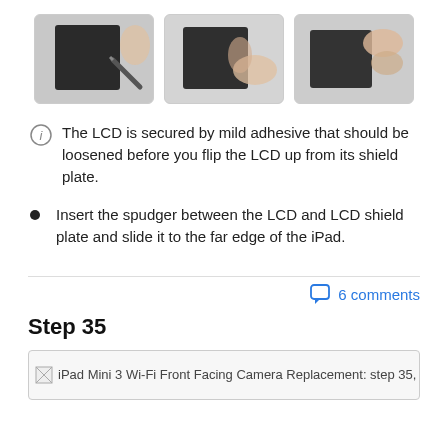[Figure (photo): Three photos showing hands working with an iPad LCD panel using a spudger tool]
The LCD is secured by mild adhesive that should be loosened before you flip the LCD up from its shield plate.
Insert the spudger between the LCD and LCD shield plate and slide it to the far edge of the iPad.
6 comments
Step 35
[Figure (photo): iPad Mini 3 Wi-Fi Front Facing Camera Replacement: step 35, image 1 of 2]